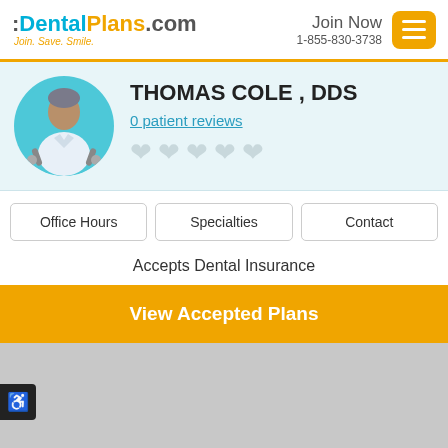:DentalPlans.com Join. Save. Smile. | Join Now 1-855-830-3738
[Figure (illustration): Dentist avatar illustration: cartoon dentist in white coat on teal circular background with dental tools]
THOMAS COLE , DDS
0 patient reviews
♥ ♥ ♥ ♥ ♥ (5 empty hearts rating)
Office Hours
Specialties
Contact
Accepts Dental Insurance
View Accepted Plans